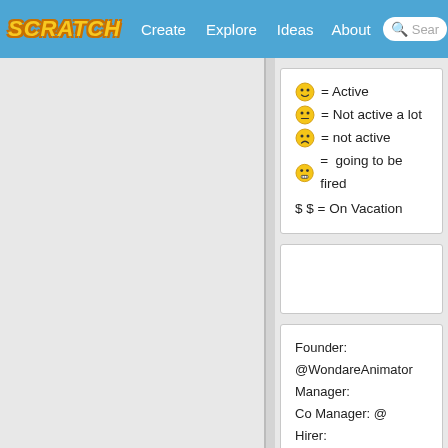SCRATCH | Create | Explore | Ideas | About | Search
😊 = Active
😊 = Not active a lot
😟 = not active
😬 =  going to be fired
$ $ = On Vacation
Founder: @WondareAnimator
Manager:
Co Manager: @
Hirer: @WondareAnimator
Advertiser: @-250119code2